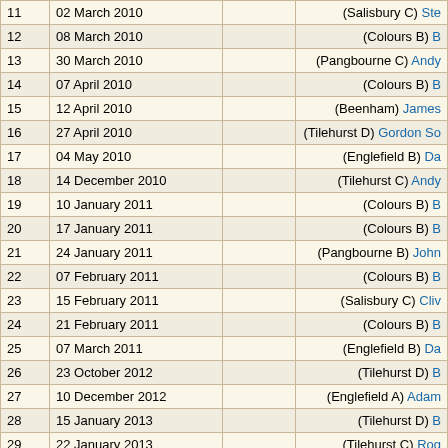| # | Date |  | Info |
| --- | --- | --- | --- |
| 11 | 02 March 2010 |  | (Salisbury C) Ste… |
| 12 | 08 March 2010 |  | (Colours B) B… |
| 13 | 30 March 2010 |  | (Pangbourne C) Andy… |
| 14 | 07 April 2010 |  | (Colours B) B… |
| 15 | 12 April 2010 |  | (Beenham) James… |
| 16 | 27 April 2010 |  | (Tilehurst D) Gordon So… |
| 17 | 04 May 2010 |  | (Englefield B) Da… |
| 18 | 14 December 2010 |  | (Tilehurst C) Andy… |
| 19 | 10 January 2011 |  | (Colours B) B… |
| 20 | 17 January 2011 |  | (Colours B) B… |
| 21 | 24 January 2011 |  | (Pangbourne B) John… |
| 22 | 07 February 2011 |  | (Colours B) B… |
| 23 | 15 February 2011 |  | (Salisbury C) Cliv… |
| 24 | 21 February 2011 |  | (Colours B) B… |
| 25 | 07 March 2011 |  | (Englefield B) Da… |
| 26 | 23 October 2012 |  | (Tilehurst D) B… |
| 27 | 10 December 2012 |  | (Englefield A) Adam… |
| 28 | 15 January 2013 |  | (Tilehurst D) B… |
| 29 | 22 January 2013 |  | (Tilehurst C) Rog… |